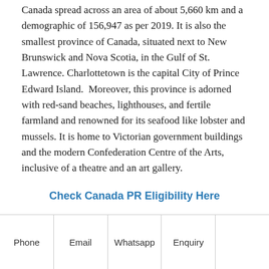Canada spread across an area of about 5,660 km and a demographic of 156,947 as per 2019. It is also the smallest province of Canada, situated next to New Brunswick and Nova Scotia, in the Gulf of St. Lawrence. Charlottetown is the capital City of Prince Edward Island.  Moreover, this province is adorned with red-sand beaches, lighthouses, and fertile farmland and renowned for its seafood like lobster and mussels. It is home to Victorian government buildings and the modern Confederation Centre of the Arts, inclusive of a theatre and an art gallery.
Check Canada PR Eligibility Here
Share:
Phone | Email | Whatsapp | Enquiry